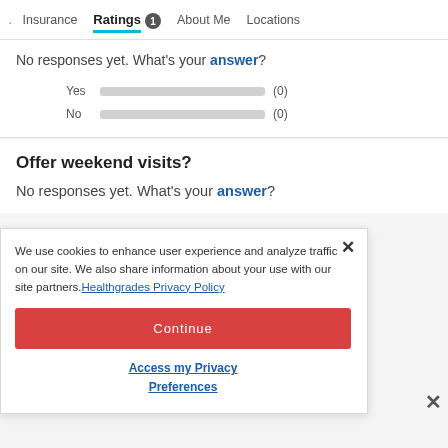Insurance  Ratings 1  About Me  Locations
No responses yet. What's your answer?
Yes (0)
No (0)
Offer weekend visits?
No responses yet. What's your answer?
We use cookies to enhance user experience and analyze traffic on our site. We also share information about your use with our site partners. Healthgrades Privacy Policy
Continue
Access my Privacy Preferences